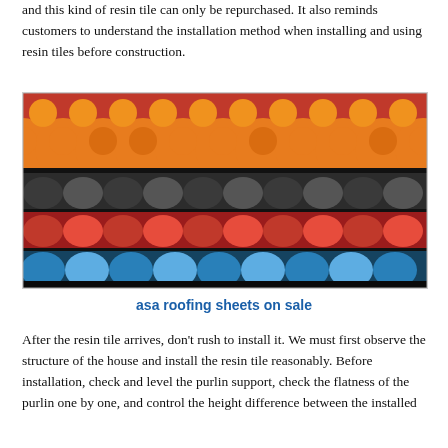and this kind of resin tile can only be repurchased. It also reminds customers to understand the installation method when installing and using resin tiles before construction.
[Figure (photo): Stacked colorful resin roofing tiles in orange, dark gray, red, and blue colors, showing the wave/scallop profile of each tile sheet.]
asa roofing sheets on sale
After the resin tile arrives, don't rush to install it. We must first observe the structure of the house and install the resin tile reasonably. Before installation, check and level the purlin support, check the flatness of the purlin one by one, and control the height difference between the installed